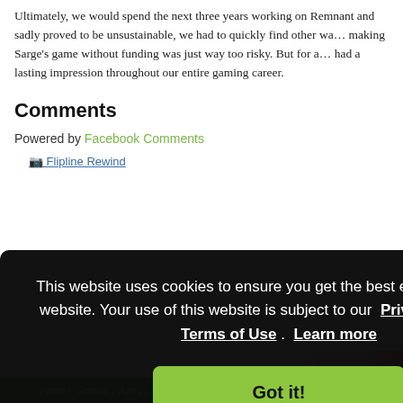Ultimately, we would spend the next three years working on Remnant and sadly proved to be unsustainable, we had to quickly find other ways making Sarge's game without funding was just way too risky. But for a had a lasting impression throughout our entire gaming career.
Comments
Powered by Facebook Comments
Flipline Rewind
This website uses cookies to ensure you get the best experience on our website. Your use of this website is subject to our Privacy Policy and Terms of Use . Learn more
Got it!
Crown
Home | Games | Apps | About | Contact | Terms of Use | Privacy Policy